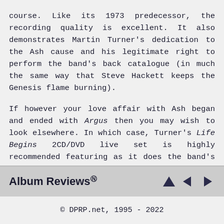course. Like its 1973 predecessor, the recording quality is excellent. It also demonstrates Martin Turner's dedication to the Ash cause and his legitimate right to perform the band's back catalogue (in much the same way that Steve Hackett keeps the Genesis flame burning).

If however your love affair with Ash began and ended with Argus then you may wish to look elsewhere. In which case, Turner's Life Begins 2CD/DVD live set is highly recommended featuring as it does the band's best loved album in its entirety.
Conclusion:
Geoff Feakes: 7.5 out of 10
Album Reviews® © DPRP.net, 1995 - 2022